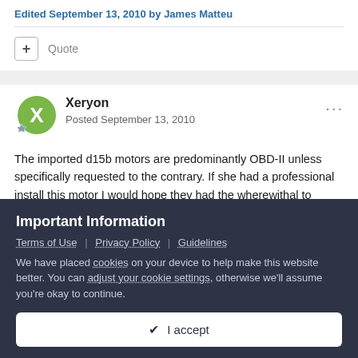Edited September 13, 2010 by James Matteu
Quote
Xeryon
Posted September 13, 2010
The imported d15b motors are predominantly OBD-II unless specifically requested to the contrary. If she had a professional install this motor I would hope they had the wherewithal to select
Important Information
Terms of Use | Privacy Policy | Guidelines
We have placed cookies on your device to help make this website better. You can adjust your cookie settings, otherwise we'll assume you're okay to continue.
I accept